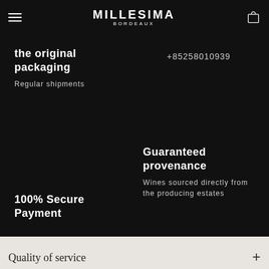MILLESIMA BORDEAUX
the original packaging
Regular shipments
+85258010939
100% Secure Payment
Guaranteed provenance
Wines sourced directly from the producing estates
Quality of service